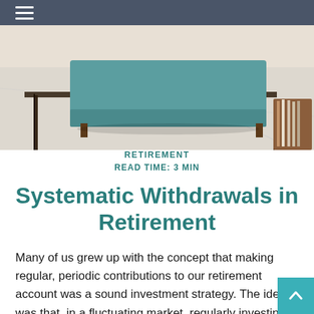[Figure (photo): Header photo showing a person's feet and legs on a light-colored floor near a coffee table and teal sofa, with a wooden magazine rack on the right side.]
RETIREMENT
READ TIME: 3 MIN
Systematic Withdrawals in Retirement
Many of us grew up with the concept that making regular, periodic contributions to our retirement account was a sound investment strategy. The idea was that, in a fluctuating market, regularly investing a set amount would enable an individual to buy more shares when prices were lower and fewer shares when prices were higher.